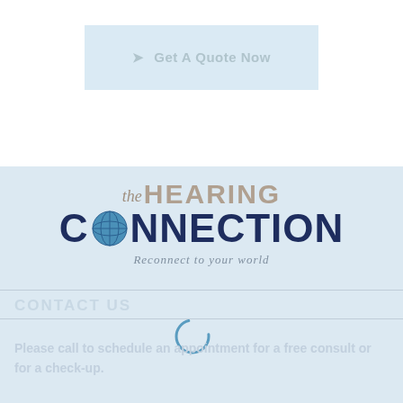[Figure (other): Get A Quote Now button with light blue background and arrow icon]
[Figure (logo): The Hearing Connection logo with globe icon and tagline 'Reconnect to your world']
CONTACT US
[Figure (other): Loading spinner circle]
Please call to schedule an appointment for a free consult or for a check-up.